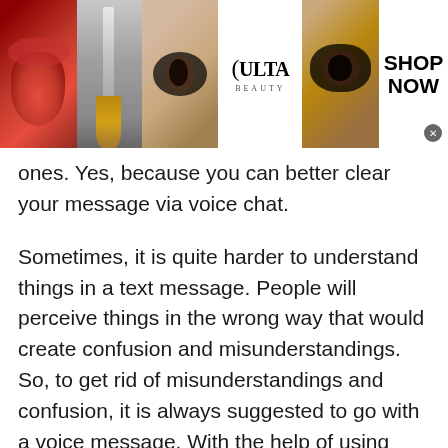[Figure (screenshot): Top banner advertisement for Ulta Beauty showing makeup images (lips, brush, eyes), Ulta Beauty logo, and a 'SHOP NOW' call to action button with an X close button.]
ones. Yes, because you can better clear your message via voice chat.
Sometimes, it is quite harder to understand things in a text message. People will perceive things in the wrong way that would create confusion and misunderstandings. So, to get rid of misunderstandings and confusion, it is always suggested to go with a voice message. With the help of using random voice chat, you can better convey your message. Because the other person can
[Figure (screenshot): Bottom advertisement bar showing two ads: 'Shop New and Used Car Deals Near You' (Ad by Car Deals Near You) with a car image, and 'Top 20 Perfectly-Time Photos You Will Ever See!' (Ad by AllyNews) with a beach photo. An X close button is in the top right.]